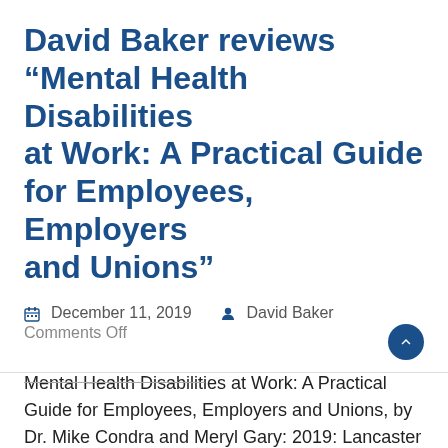David Baker reviews “Mental Health Disabilities at Work: A Practical Guide for Employees, Employers and Unions”
December 11, 2019   David Baker   Comments Off
Mental Health Disabilities at Work: A Practical Guide for Employees, Employers and Unions, by Dr. Mike Condra and Meryl Gary: 2019: Lancaster House